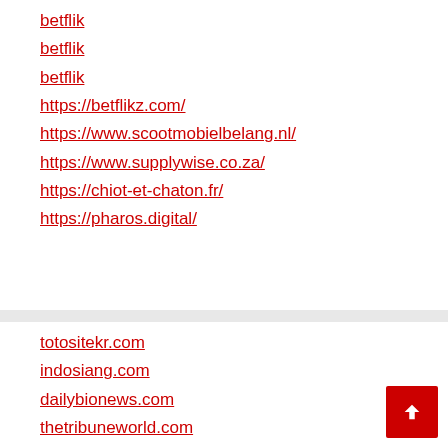betflik
betflik
betflik
https://betflikz.com/
https://www.scootmobielbelang.nl/
https://www.supplywise.co.za/
https://chiot-et-chaton.fr/
https://pharos.digital/
totositekr.com
indosiang.com
dailybionews.com
thetribuneworld.com
rubbishcleared.co.uk